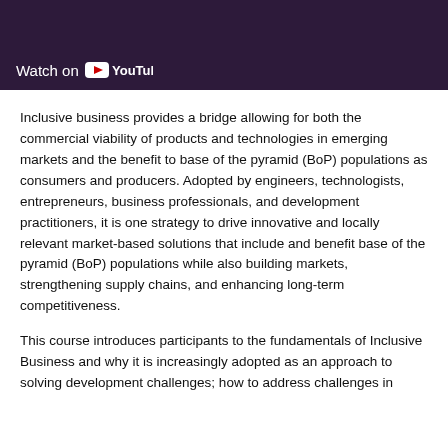[Figure (screenshot): YouTube video thumbnail showing 'Watch on YouTube' button overlay on a dark purple/maroon background with partial text visible]
Inclusive business provides a bridge allowing for both the commercial viability of products and technologies in emerging markets and the benefit to base of the pyramid (BoP) populations as consumers and producers. Adopted by engineers, technologists, entrepreneurs, business professionals, and development practitioners, it is one strategy to drive innovative and locally relevant market-based solutions that include and benefit base of the pyramid (BoP) populations while also building markets, strengthening supply chains, and enhancing long-term competitiveness.
This course introduces participants to the fundamentals of Inclusive Business and why it is increasingly adopted as an approach to solving development challenges; how to address challenges in